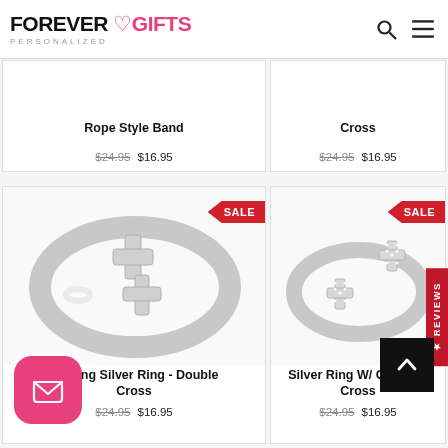FOREVER ♡ GIFTS PERSONALIZED
[Figure (photo): Partial view of product cards for Rope Style Band and Cross rings at top]
Rope Style Band
$24.95  $16.95
Cross
$24.95  $16.95
[Figure (photo): Sterling Silver Ring - Double Cross product image with SALE badge]
Sterling Silver Ring - Double Cross
$24.95  $16.95
[Figure (photo): Silver Ring W/ CZ - Double Cross product image with SALE badge]
Silver Ring W/ CZ - Double Cross
$24.95  $16.95